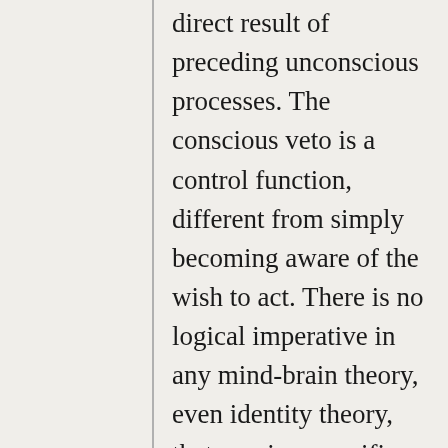direct result of preceding unconscious processes. The conscious veto is a control function, different from simply becoming aware of the wish to act. There is no logical imperative in any mind-brain theory, even identity theory, that requires specific neural activity to precede and determine the nature of a conscious control function. And there is no experimental evidence against the possibility that the control